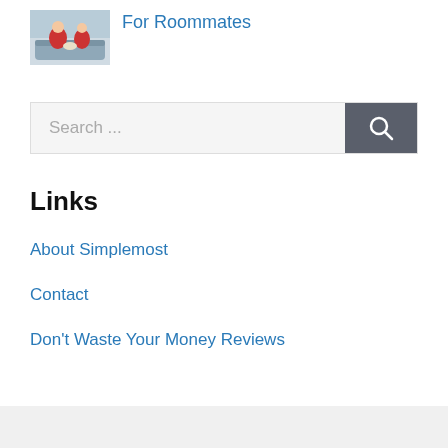[Figure (photo): Thumbnail image of people on a couch, one in red clothing]
For Roommates
Search ...
Links
About Simplemost
Contact
Don't Waste Your Money Reviews